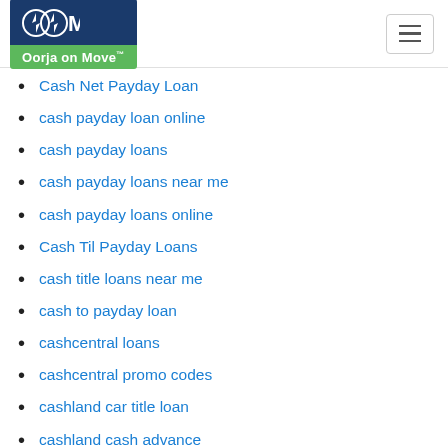Oorja on Move
Cash Net Payday Loan
cash payday loan online
cash payday loans
cash payday loans near me
cash payday loans online
Cash Til Payday Loans
cash title loans near me
cash to payday loan
cashcentral loans
cashcentral promo codes
cashland car title loan
cashland cash advance
cashland online application
cashland pawn shop
Cashland Payday Loans
cashnetusa address